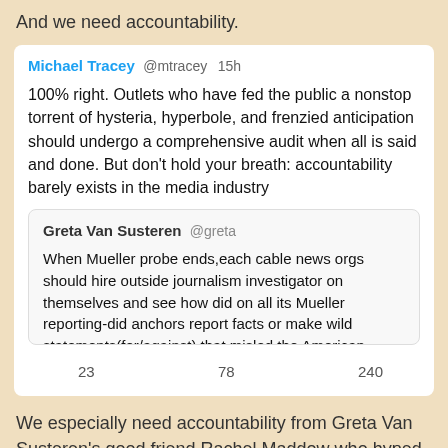And we need accountability.
Michael Tracey @mtracey 15h

100% right. Outlets who have fed the public a nonstop torrent of hysteria, hyperbole, and frenzied anticipation should undergo a comprehensive audit when all is said and done. But don't hold your breath: accountability barely exists in the media industry
Greta Van Susteren @greta

When Mueller probe ends,each cable news orgs should hire outside journalism investigator on themselves and see how did on all its Mueller reporting-did anchors report facts or make wild statements(for/against) that misled the American people? And
23  78  240
We especially need accountability from Greta Van Susteren's good friend Rachel Maddow who hyped this non-story and lied repeatedly, using fear mongering to boost her ratings